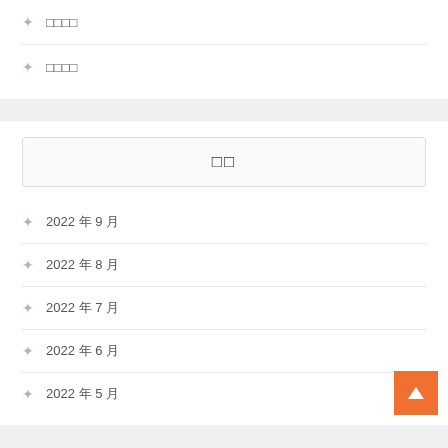□□□□
□□□□
□□
2022 년 9 월
2022 년 8 월
2022 년 7 월
2022 년 6 월
2022 년 5 월